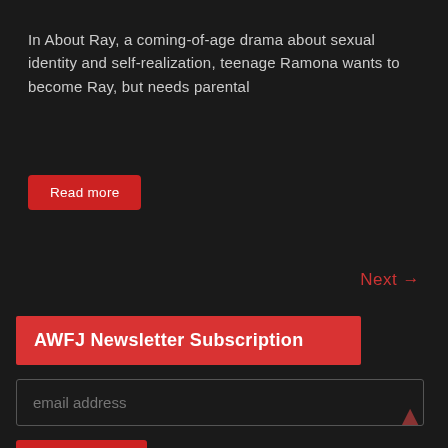In About Ray, a coming-of-age drama about sexual identity and self-realization, teenage Ramona wants to become Ray, but needs parental
Read more
Next →
AWFJ Newsletter Subscription
email address
Subscribe